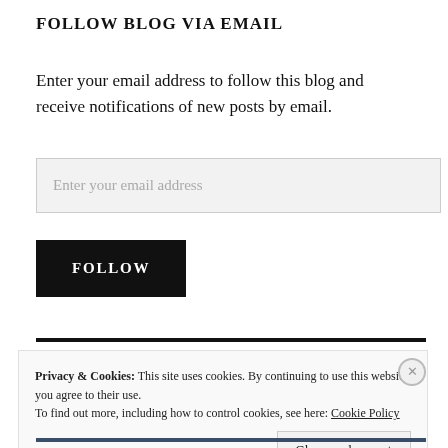FOLLOW BLOG VIA EMAIL
Enter your email address to follow this blog and receive notifications of new posts by email.
Enter your email address
FOLLOW
Privacy & Cookies: This site uses cookies. By continuing to use this website, you agree to their use. To find out more, including how to control cookies, see here: Cookie Policy
Close and accept